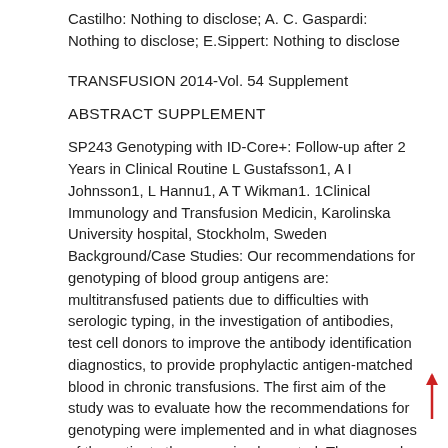Castilho: Nothing to disclose; A. C. Gaspardi: Nothing to disclose; E.Sippert: Nothing to disclose
TRANSFUSION 2014-Vol. 54 Supplement
ABSTRACT SUPPLEMENT
SP243 Genotyping with ID-Core+: Follow-up after 2 Years in Clinical Routine L Gustafsson1, A I Johnsson1, L Hannu1, A T Wikman1. 1Clinical Immunology and Transfusion Medicin, Karolinska University hospital, Stockholm, Sweden Background/Case Studies: Our recommendations for genotyping of blood group antigens are: multitransfused patients due to difficulties with serologic typing, in the investigation of antibodies, test cell donors to improve the antibody identification diagnostics, to provide prophylactic antigen-matched blood in chronic transfusions. The first aim of the study was to evaluate how the recommendations for genotyping were implemented and in what diagnoses of the patients they were implemented. The second aim of the study was evaluate the results of genotyping compared to phenotyping. Study Design/Methods: Whole blood samples from 141 patients